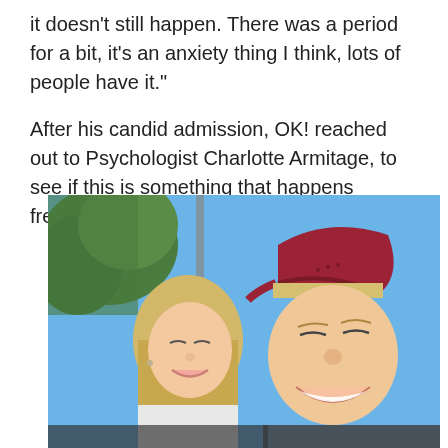it doesn't still happen. There was a period for a bit, it's an anxiety thing I think, lots of people have it."
After his candid admission, OK! reached out to Psychologist Charlotte Armitage, to see if this is something that happens frequently.
[Figure (photo): A smiling couple taking a selfie outdoors against a blue sky. The woman has blonde hair and the man wears a backwards red cap. A cookie consent overlay is visible across the lower portion of the image.]